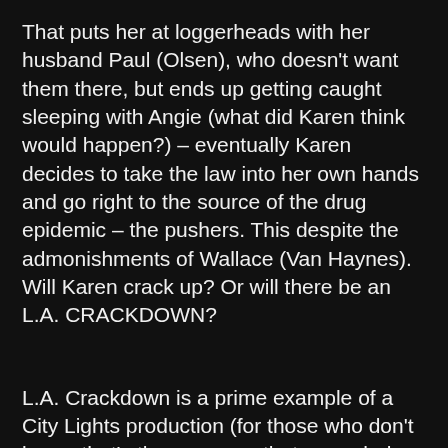That puts her at loggerheads with her husband Paul (Olsen), who doesn't want them there, but ends up getting caught sleeping with Angie (what did Karen think would happen?) – eventually Karen decides to take the law into her own hands and go right to the source of the drug epidemic – the pushers. This despite the admonishments of Wallace (Van Haynes). Will Karen crack up? Or will there be an L.A. CRACKDOWN?
L.A. Crackdown is a prime example of a City Lights production (for those who don't know, that's the company that preceded PM Entertainment), and it's written and directed, as usual for City Lights, by Joseph Merhi, who also gets a killer death scene as a baddie named Speed. Watch out for that. Actress Pamela Dixon never did a movie outside the City